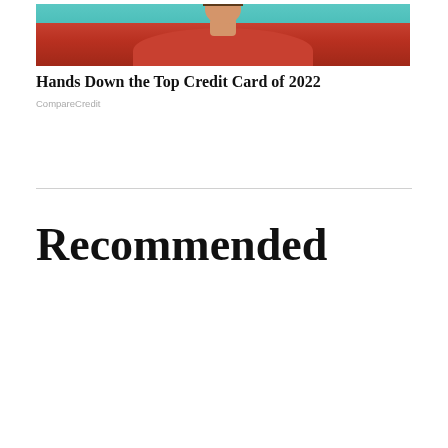[Figure (photo): Person wearing a red/orange turtleneck sweater against a teal/turquoise background, cropped to show upper body and head]
Hands Down the Top Credit Card of 2022
CompareCredit
Recommended